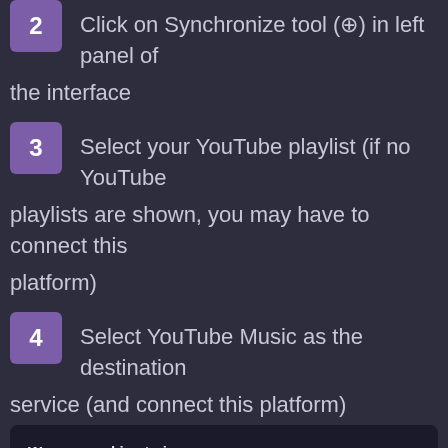2  Click on Synchronize tool (⊕) in left panel of the interface
3  Select your YouTube playlist (if no YouTube playlists are shown, you may have to connect this platform)
4  Select YouTube Music as the destination service (and connect this platform)
We use cookies to improve your experience on our website and to help us understand how visitors use it. By using this site, you agree to this use. See details  OK
create a new playlist directly by selecting 'New